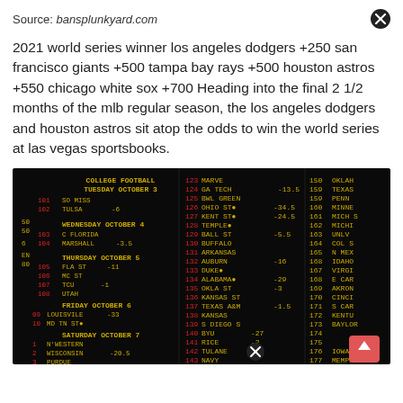Source: bansplunkyard.com
2021 world series winner los angeles dodgers +250 san francisco giants +500 tampa bay rays +500 houston astros +550 chicago white sox +700 Heading into the final 2 1/2 months of the mlb regular season, the los angeles dodgers and houston astros sit atop the odds to win the world series at las vegas sportsbooks.
[Figure (photo): A Las Vegas sportsbook scoreboard showing college football odds for various games including Tuesday October 3 through Saturday October 7, with team numbers, names, and point spreads displayed in red and yellow text on a black LED board.]